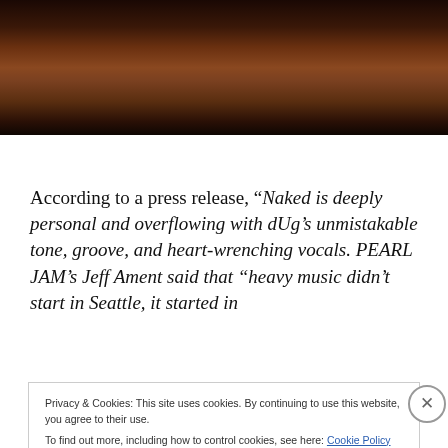[Figure (photo): Dark photo showing a shirtless person against a dark background]
According to a press release, “Naked is deeply personal and overflowing with dUg’s unmistakable tone, groove, and heart-wrenching vocals. PEARL JAM’s Jeff Ament said that “heavy music didn’t start in Seattle, it started in
Privacy & Cookies: This site uses cookies. By continuing to use this website, you agree to their use.
To find out more, including how to control cookies, see here: Cookie Policy
Close and accept